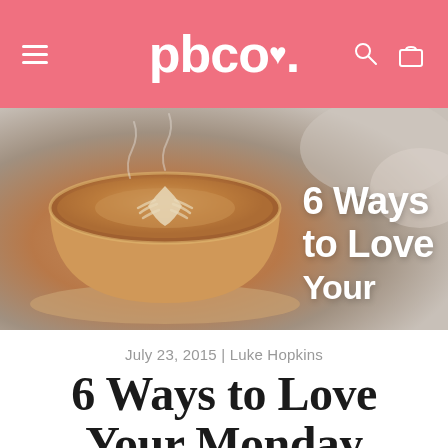pbco.
[Figure (photo): Close-up photo of a latte art coffee cup with a heart/leaf pattern in the foam, with text overlay '6 Ways to Love Your' in white handwritten-style font on the right side]
July 23, 2015 | Luke Hopkins
6 Ways to Love Your Monday